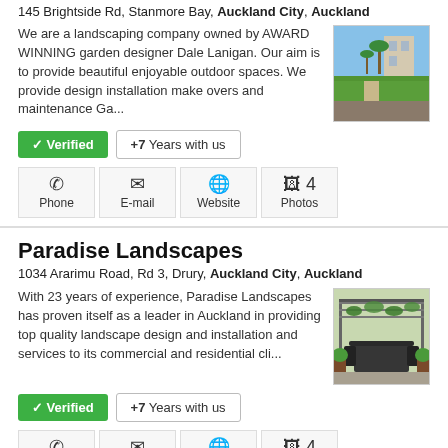145 Brightside Rd, Stanmore Bay, Auckland City, Auckland
We are a landscaping company owned by AWARD WINNING garden designer Dale Lanigan. Our aim is to provide beautiful enjoyable outdoor spaces. We provide design installation make overs and maintenance Ga...
✓ Verified   +7 Years with us
Phone   E-mail   Website   4 Photos
Paradise Landscapes
1034 Ararimu Road, Rd 3, Drury, Auckland City, Auckland
With 23 years of experience, Paradise Landscapes has proven itself as a leader in Auckland in providing top quality landscape design and installation and services to its commercial and residential cli...
✓ Verified   +7 Years with us
Phone   E-mail   Website   4 Photos